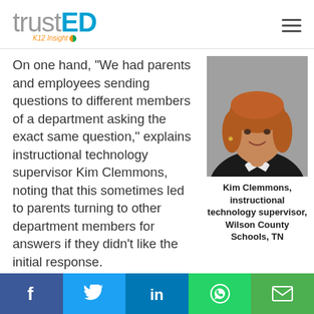trustED K12 Insight
On one hand, "We had parents and employees sending questions to different members of a department asking the exact same question," explains instructional technology supervisor Kim Clemmons, noting that this sometimes led to parents turning to other department members for answers if they didn't like the initial response.
[Figure (photo): Professional headshot of Kim Clemmons, a woman with reddish-blonde hair wearing a black blazer and white top, smiling against a gray background.]
Kim Clemmons, instructional technology supervisor, Wilson County Schools, TN
Social share bar: Facebook, Twitter, LinkedIn, WhatsApp, Email